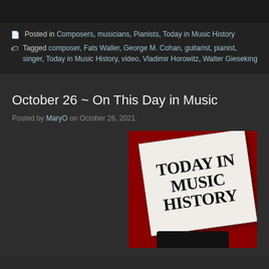Posted in Composers, musicians, Pianists, Today in Music History
Tagged composer, Fats Waller, George M. Cohan, guitarist, pianist, singer, Today in Music History, video, Vladimir Horowitz, Walter Gieseking
October 26 ~ On This Day in Music
Posted by MaryO on October 26, 2021
[Figure (illustration): A newspaper folded open showing the text TODAY IN MUSIC HISTORY in bold black serif type on white paper, set against a dark red/crimson background with a black base/stand.]